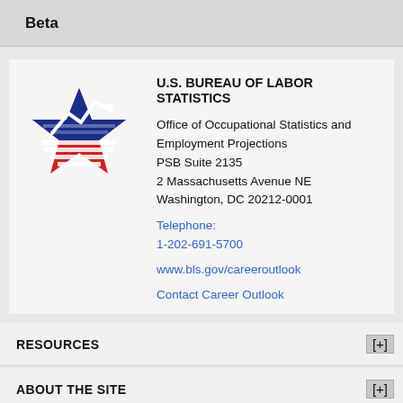Beta
[Figure (logo): U.S. Bureau of Labor Statistics star logo with red stripes and blue chart line]
U.S. BUREAU OF LABOR STATISTICS
Office of Occupational Statistics and Employment Projections
PSB Suite 2135
2 Massachusetts Avenue NE
Washington, DC 20212-0001
Telephone: 1-202-691-5700
www.bls.gov/careeroutlook
Contact Career Outlook
RESOURCES
ABOUT THE SITE